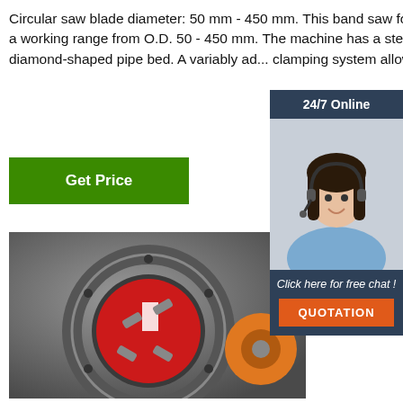Circular saw blade diameter: 50 mm - 450 mm. This band saw for cutting plastic pipes offers a working range from O.D. 50 - 450 mm. The machine has a steel pipework frame with a diamond-shaped pipe bed. A variably adjustable clamping system allows the manual secu...
Get Price
[Figure (photo): Customer service representative with headset, 24/7 online chat widget with quotation button]
[Figure (photo): Close-up photo of a circular saw blade cutting machine interior showing a red-painted disc and mechanical components]